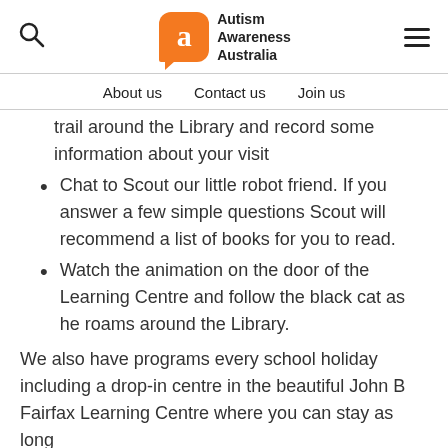[Figure (logo): Autism Awareness Australia logo with orange speech bubble containing white letter 'a' and text 'Autism Awareness Australia']
About us   Contact us   Join us
trail around the Library and record some information about your visit
Chat to Scout our little robot friend. If you answer a few simple questions Scout will recommend a list of books for you to read.
Watch the animation on the door of the Learning Centre and follow the black cat as he roams around the Library.
We also have programs every school holiday including a drop-in centre in the beautiful John B Fairfax Learning Centre where you can stay as long